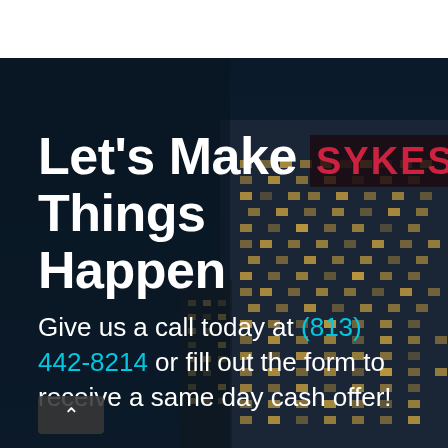[Figure (photo): Dark nighttime city skyline with illuminated skyscraper showing SYKES sign in red lettering, overlaid as background behind text content]
Let's Make Things Happen
Give us a call today at (813) 442-8214 or fill out the form to receive a same day cash offer!